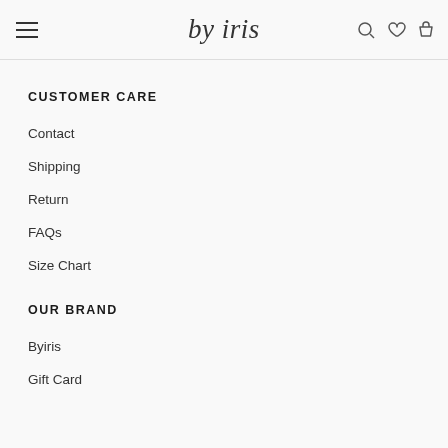by iris — navigation header with hamburger menu, logo, and icons
CUSTOMER CARE
Contact
Shipping
Return
FAQs
Size Chart
OUR BRAND
Byiris
Gift Card